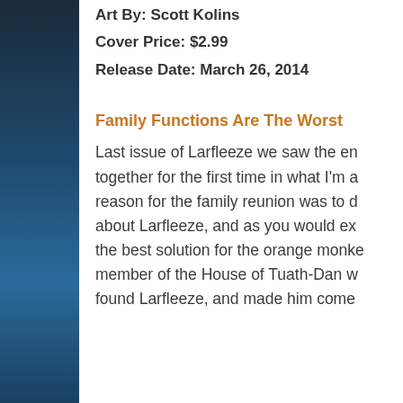Art By: Scott Kolins
Cover Price: $2.99
Release Date: March 26, 2014
Family Functions Are The Worst
Last issue of Larfleeze we saw the en- together for the first time in what I'm a reason for the family reunion was to d about Larfleeze, and as you would ex- the best solution for the orange monke member of the House of Tuath-Dan w found Larfleeze, and made him come